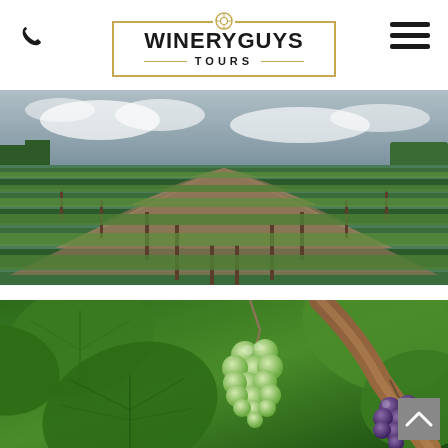[Figure (logo): Winery Guys Tours logo with golden border, circle top ornament, bold text WINERYGUYS and TOURS below divider lines]
[Figure (photo): Aerial perspective photo of vineyard rows stretching to the horizon under cloudy sky, green grapevines with dirt paths between rows, trees in background]
[Figure (photo): Close-up photo of green and purple grape clusters on vine with large green leaves, shallow depth of field]